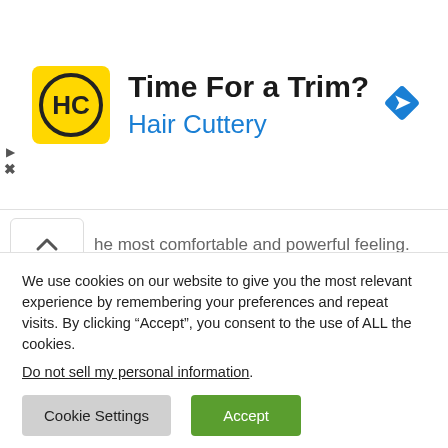[Figure (infographic): Advertisement banner for Hair Cuttery showing yellow logo with HC initials, text 'Time For a Trim?' and 'Hair Cuttery' in blue, and a blue navigation arrow icon on the right.]
he most comfortable and powerful feeling.
Additionally, it's necessary to know driving before running an expensive car. On the other side, if you're still a beginner, you can easily control your speed with a slower car.
We use cookies on our website to give you the most relevant experience by remembering your preferences and repeat visits. By clicking “Accept”, you consent to the use of ALL the cookies.
Do not sell my personal information.